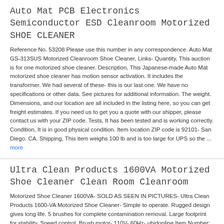Auto Mat PCB Electronics Semiconductor ESD Cleanroom Motorized SHOE CLEANER
Reference No. 53208 Please use this number in any correspondence. Auto Mat GS-313SUS Motorized Cleanroom Shoe Cleaner, Links- Quantity, This auction is for one motorized shoe cleaner. Description, This Japanese-made Auto Mat motorized shoe cleaner has motion sensor activation. It includes the transformer. We had several of these- this is our last one. We have no specifications or other data. See pictures for additional information. The weight. Dimensions, and our location are all included in the listing here, so you can get freight estimates. If you need us to get you a quote with our shipper, please contact us with your ZIP code. Tests, It has been tested and is working correctly. Condition, It is in good physical condition. Item location ZIP code is 92101- San Diego. CA. Shipping, This item weighs 100 lb and is too large for UPS so the ... more
Ultra Clean Products 1600VA Motorized Shoe Cleaner Clean Room Cleanroom
Motorized Shoe Cleaner 1600VA- SOLD AS SEEN IN PICTURES- Ultra Clean Products 1600-VA Motorized Shoe Cleaner- Simple to operate. Rugged design gives long life. 5 brushes for complete contamination removal. Large footprint for stability. Speed control. Brush motor- 110V- 60Hz- ubidonline Item Number: 10 13-80 A2 You are bidding on( 1) Motorized Shoe Cleaner. We make every effort to communicate all of the details to make an informed decision. However, verification and